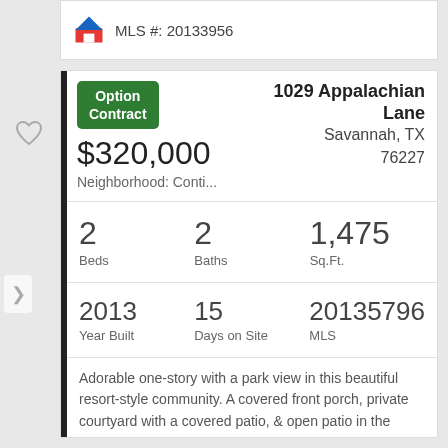MLS #: 20133956
1029 Appalachian Lane Savannah, TX 76227
$320,000
Neighborhood: Conti...
Option Contract
| Beds | Baths | Sq.Ft. |
| --- | --- | --- |
| 2 | 2 | 1,475 |
| Year Built | Days on Site | MLS |
| --- | --- | --- |
| 2013 | 15 | 20135796 |
Adorable one-story with a park view in this beautiful resort-style community. A covered front porch, private courtyard with a covered patio, & open patio in the backyard offer plenty of outdoor...
MLS #: 20135796